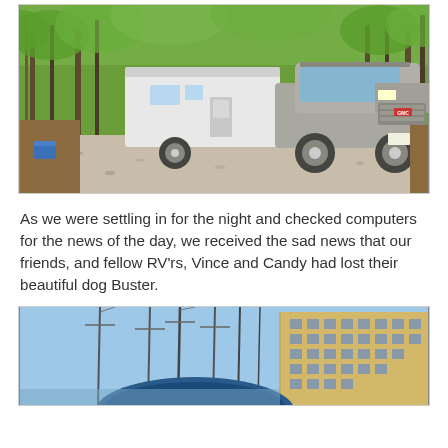[Figure (photo): A silver GMC pickup truck towing a white travel trailer on a gravel road surrounded by green spring trees in a campground. A blue cooler or container is visible on the left.]
As we were settling in for the night and checked computers for the news of the day, we received the sad news that our friends, and fellow RV'rs, Vince and Candy had lost their beautiful dog Buster.
[Figure (photo): A marina or harbor scene with tall bare mast poles visible against a blue sky, and a large yellow multi-story building in the background. The bottom portion of a boat hull can be seen.]